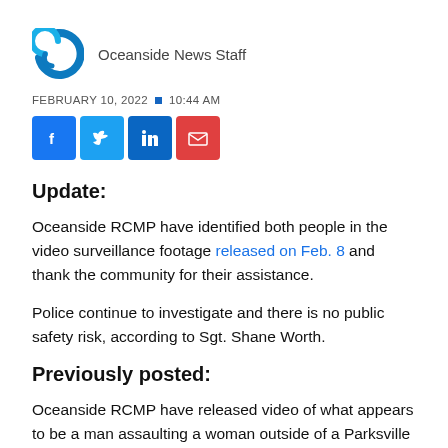[Figure (logo): Oceanside News logo — a blue spiral/wave shape]
Oceanside News Staff
FEBRUARY 10, 2022 ■ 10:44 AM
[Figure (other): Social share buttons: Facebook, Twitter, LinkedIn, Email]
Update:
Oceanside RCMP have identified both people in the video surveillance footage released on Feb. 8 and thank the community for their assistance.
Police continue to investigate and there is no public safety risk, according to Sgt. Shane Worth.
Previously posted:
Oceanside RCMP have released video of what appears to be a man assaulting a woman outside of a Parksville business.